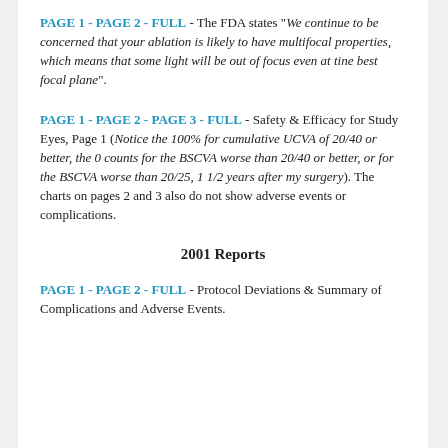PAGE 1 - PAGE 2 - FULL - The FDA states "We continue to be concerned that your ablation is likely to have multifocal properties, which means that some light will be out of focus even at tine best focal plane".
PAGE 1 - PAGE 2 - PAGE 3 - FULL - Safety & Efficacy for Study Eyes, Page 1 (Notice the 100% for cumulative UCVA of 20/40 or better, the 0 counts for the BSCVA worse than 20/40 or better, or for the BSCVA worse than 20/25, 1 1/2 years after my surgery). The charts on pages 2 and 3 also do not show adverse events or complications.
2001 Reports
PAGE 1 - PAGE 2 - FULL - Protocol Deviations & Summary of Complications and Adverse Events.